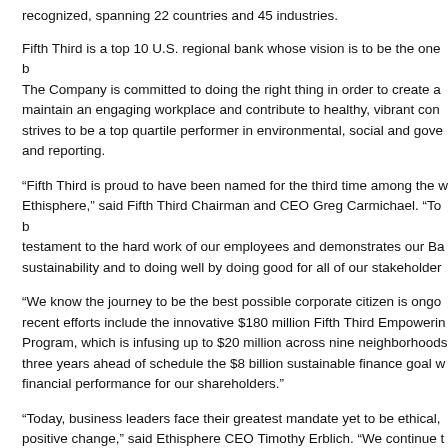recognized, spanning 22 countries and 45 industries.
Fifth Third is a top 10 U.S. regional bank whose vision is to be the one b... The Company is committed to doing the right thing in order to create a... maintain an engaging workplace and contribute to healthy, vibrant con... strives to be a top quartile performer in environmental, social and gove... and reporting.
“Fifth Third is proud to have been named for the third time among the w... Ethisphere,” said Fifth Third Chairman and CEO Greg Carmichael. “To b... testament to the hard work of our employees and demonstrates our Ba... sustainability and to doing well by doing good for all of our stakeholder...
“We know the journey to be the best possible corporate citizen is ongo... recent efforts include the innovative $180 million Fifth Third Empowerin... Program, which is infusing up to $20 million across nine neighborhoods... three years ahead of schedule the $8 billion sustainable finance goal w... financial performance for our shareholders.”
“Today, business leaders face their greatest mandate yet to be ethical,... positive change,” said Ethisphere CEO Timothy Erblich. “We continue t... Ethical Companies honorees and their dedication to integrity, sustainab... Congratulations to Fifth Third Bank for earning the World’s Most Ethical...
Ethics & Performance